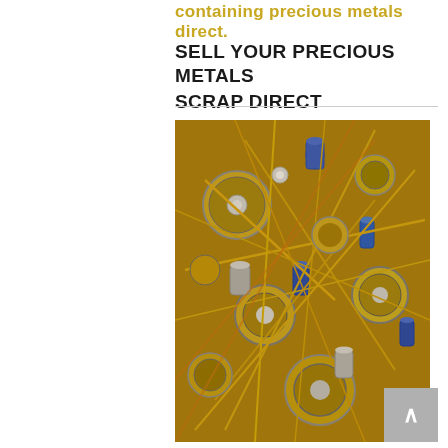containing precious metals direct.
SELL YOUR PRECIOUS METALS SCRAP DIRECT
[Figure (photo): A pile of gold-colored electronic components and transistors with blue capacitors mixed in, resembling precious metal scrap from electronic components.]